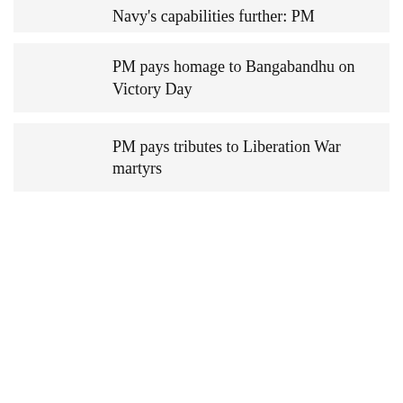Navy's capabilities further: PM
PM pays homage to Bangabandhu on Victory Day
PM pays tributes to Liberation War martyrs